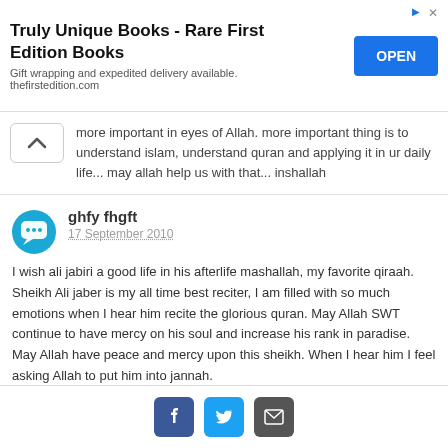[Figure (infographic): Advertisement banner: 'Truly Unique Books - Rare First Edition Books' with OPEN button]
more important in eyes of Allah. more important thing is to understand islam, understand quran and applying it in ur daily life... may allah help us with that... inshallah
ghfy fhgft
17 September 2010
I wish ali jabiri a good life in his afterlife mashallah, my favorite qiraah. Sheikh Ali jaber is my all time best reciter, I am filled with so much emotions when I hear him recite the glorious quran. May Allah SWT continue to have mercy on his soul and increase his rank in paradise. May Allah have peace and mercy upon this sheikh. When I hear him I feel asking Allah to put him into jannah.
[Figure (infographic): Social share buttons: Facebook, Twitter, Email]